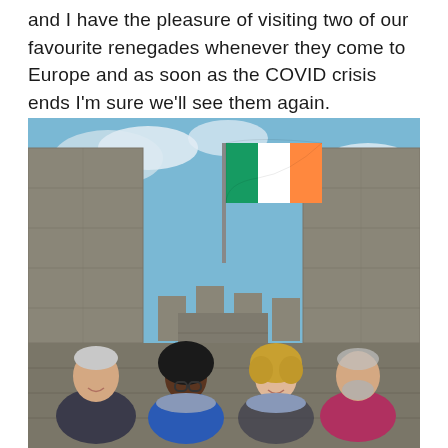and I have the pleasure of visiting two of our favourite renegades whenever they come to Europe and as soon as the COVID crisis ends I'm sure we'll see them again.
[Figure (photo): Four people standing in front of a stone castle battlement wall with an Irish tricolour flag flying on a pole above them against a blue sky. From left to right: an older man in a dark jacket, a woman with an afro hairstyle wearing glasses and a blue jacket, a woman with curly blonde hair wearing a scarf, and an older man with a beard in a pink/magenta top.]